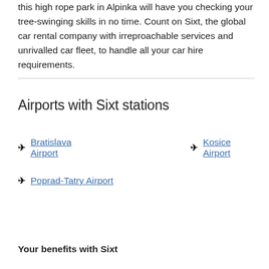this high rope park in Alpinka will have you checking your tree-swinging skills in no time. Count on Sixt, the global car rental company with irreproachable services and unrivalled car fleet, to handle all your car hire requirements.
Airports with Sixt stations
✈ Bratislava Airport
✈ Kosice Airport
✈ Poprad-Tatry Airport
Your benefits with Sixt